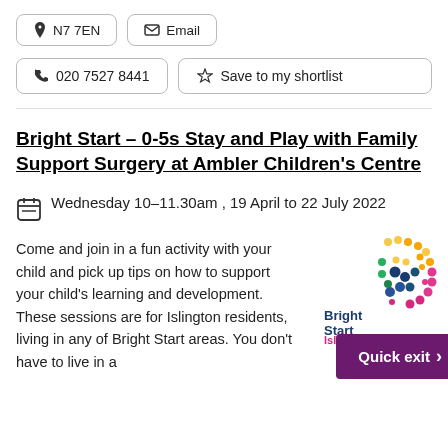📍 N7 7EN
✉ Email
📞 020 7527 8441
☆ Save to my shortlist
Bright Start – 0-5s Stay and Play with Family Support Surgery at Ambler Children's Centre
Wednesday 10–11.30am , 19 April to 22 July 2022
Come and join in a fun activity with your child and pick up tips on how to support your child's learning and development. These sessions are for Islington residents, living in any of Bright Start areas. You don't have to live in a
[Figure (logo): Bright Start Islington logo — Every child | Every family]
Quick exit >